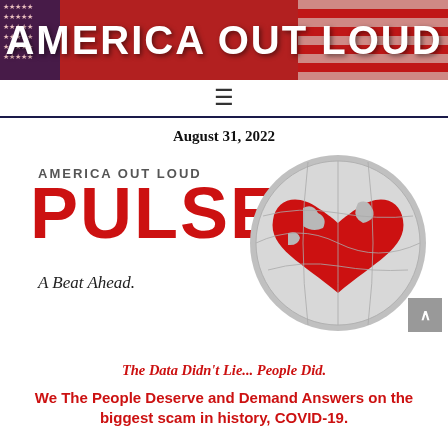AMERICA OUT LOUD
August 31, 2022
[Figure (logo): America Out Loud PULSE logo with a red heart-shaped globe graphic and text 'A Beat Ahead.']
The Data Didn't Lie... People Did.
We The People Deserve and Demand Answers on the biggest scam in history, COVID-19.